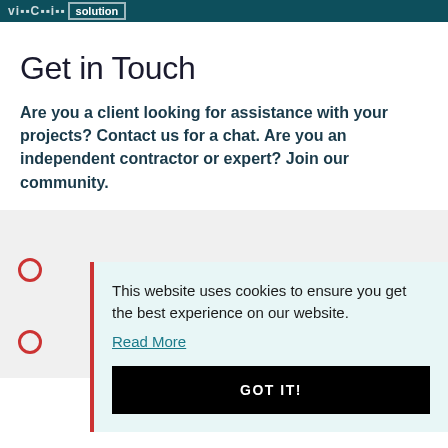Get in Touch
Are you a client looking for assistance with your projects? Contact us for a chat. Are you an independent contractor or expert? Join our community.
This website uses cookies to ensure you get the best experience on our website.
Read More
GOT IT!